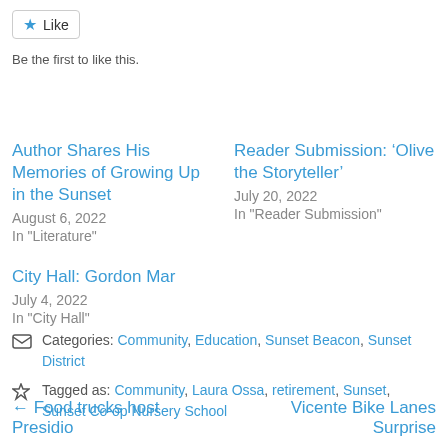[Figure (other): Like button with star icon]
Be the first to like this.
Author Shares His Memories of Growing Up in the Sunset
August 6, 2022
In "Literature"
Reader Submission: ‘Olive the Storyteller’
July 20, 2022
In "Reader Submission"
City Hall: Gordon Mar
July 4, 2022
In "City Hall"
Categories: Community, Education, Sunset Beacon, Sunset District
Tagged as: Community, Laura Ossa, retirement, Sunset, Sunset Co-op Nursery School
← Food trucks host Presidio
Vicente Bike Lanes Surprise